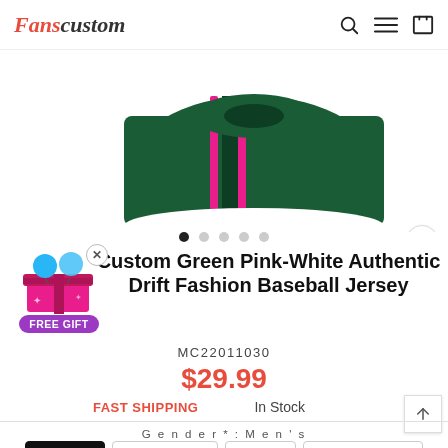Fanscustom
[Figure (photo): Green and pink baseball jersey product image, top half visible showing the chest area with pink stripe details]
[Figure (infographic): Free gift popup with gift box icon, close X button, and purple FREE GIFT badge]
Custom Green Pink-White Authentic Drift Fashion Baseball Jersey
MC22011030
$29.99
FAST SHIPPING
In Stock
Gender* : Men's
Men's
Women's
Kid's
Preschool